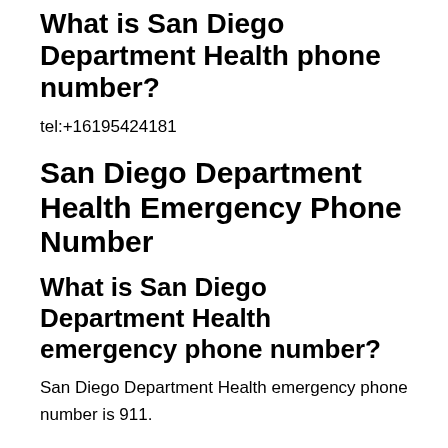What is San Diego Department Health phone number?
tel:+16195424181
San Diego Department Health Emergency Phone Number
What is San Diego Department Health emergency phone number?
San Diego Department Health emergency phone number is 911.